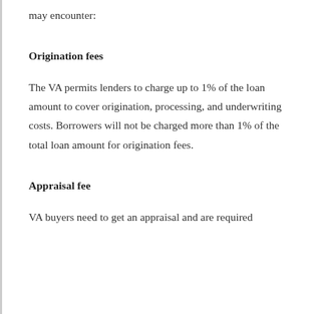may encounter:
Origination fees
The VA permits lenders to charge up to 1% of the loan amount to cover origination, processing, and underwriting costs. Borrowers will not be charged more than 1% of the total loan amount for origination fees.
Appraisal fee
VA buyers need to get an appraisal and are required